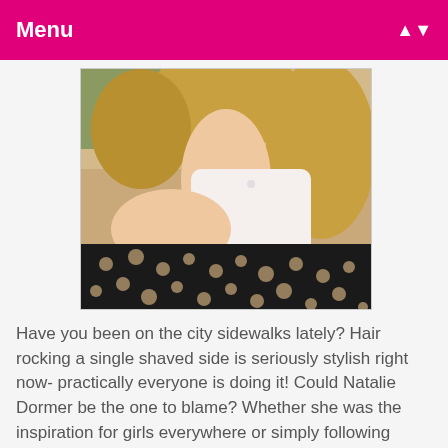Menu
[Figure (photo): Close-up photo of a woman from behind, showing her shoulder and back of neck with blonde wavy hair. She is wearing a white top and a black crochet/lace top over it.]
Have you been on the city sidewalks lately? Hair rocking a single shaved side is seriously stylish right now- practically everyone is doing it! Could Natalie Dormer be the one to blame? Whether she was the inspiration for girls everywhere or simply following trend, we love her rockin' hairdo. Talk about a style with tons of